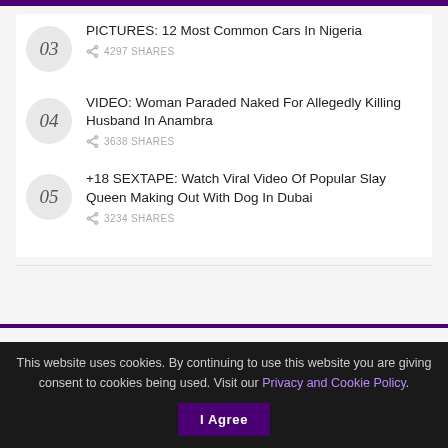03 PICTURES: 12 Most Common Cars In Nigeria — 4297 SHARES
04 VIDEO: Woman Paraded Naked For Allegedly Killing Husband In Anambra — 3638 SHARES
05 +18 SEXTAPE: Watch Viral Video Of Popular Slay Queen Making Out With Dog In Dubai — 3234 SHARES
This website uses cookies. By continuing to use this website you are giving consent to cookies being used. Visit our Privacy and Cookie Policy.